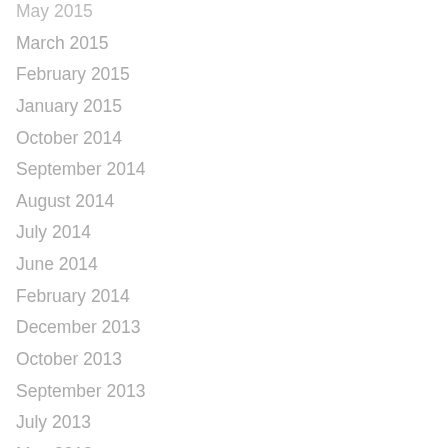May 2015
March 2015
February 2015
January 2015
October 2014
September 2014
August 2014
July 2014
June 2014
February 2014
December 2013
October 2013
September 2013
July 2013
May 2013
April 2013
February 2013